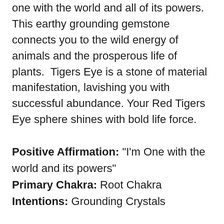one with the world and all of its powers. This earthy grounding gemstone connects you to the wild energy of animals and the prosperous life of plants.  Tigers Eye is a stone of material manifestation, lavishing you with successful abundance. Your Red Tigers Eye sphere shines with bold life force.
Positive Affirmation: "I'm One with the world and its powers"
Primary Chakra: Root Chakra
Intentions: Grounding Crystals
CRYSTAL STYLE
Your new sphere is polished from the natural